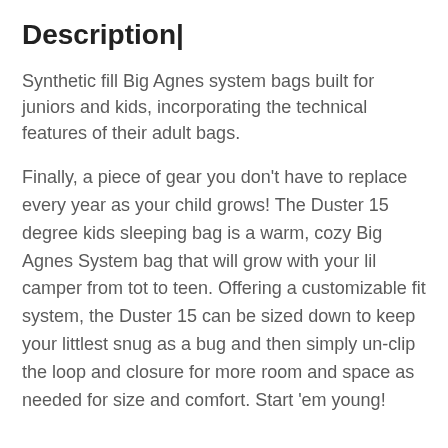Description|
Synthetic fill Big Agnes system bags built for juniors and kids, incorporating the technical features of their adult bags.
Finally, a piece of gear you don't have to replace every year as your child grows! The Duster 15 degree kids sleeping bag is a warm, cozy Big Agnes System bag that will grow with your lil camper from tot to teen. Offering a customizable fit system, the Duster 15 can be sized down to keep your littlest snug as a bug and then simply un-clip the loop and closure for more room and space as needed for size and comfort. Start 'em young!